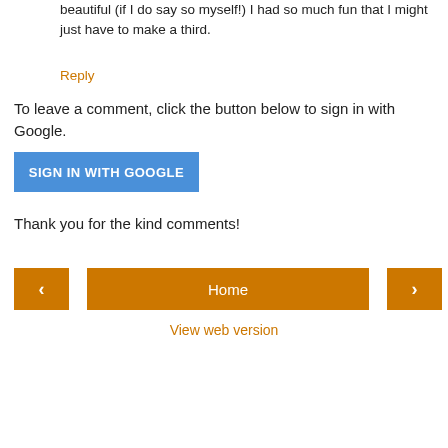beautiful (if I do say so myself!) I had so much fun that I might just have to make a third.
Reply
To leave a comment, click the button below to sign in with Google.
SIGN IN WITH GOOGLE
Thank you for the kind comments!
‹
Home
›
View web version